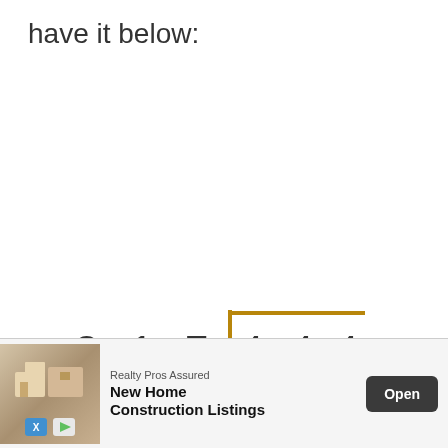have it below:
[Figure (math-figure): Long division setup showing dividend 444 inside the division bracket and divisor 817 outside. Numbers displayed with wide spacing: 8 1 7 | 4 4 4]
Step 2
[Figure (other): Advertisement banner: Realty Pros Assured - New Home Construction Listings with Open button]